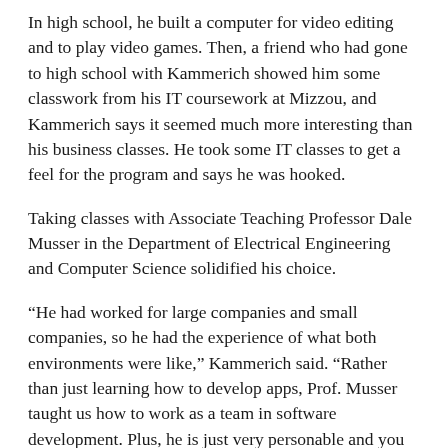In high school, he built a computer for video editing and to play video games. Then, a friend who had gone to high school with Kammerich showed him some classwork from his IT coursework at Mizzou, and Kammerich says it seemed much more interesting than his business classes. He took some IT classes to get a feel for the program and says he was hooked.
Taking classes with Associate Teaching Professor Dale Musser in the Department of Electrical Engineering and Computer Science solidified his choice.
“He had worked for large companies and small companies, so he had the experience of what both environments were like,” Kammerich said. “Rather than just learning how to develop apps, Prof. Musser taught us how to work as a team in software development. Plus, he is just very personable and you can tell he cares and loves what he is doing.”